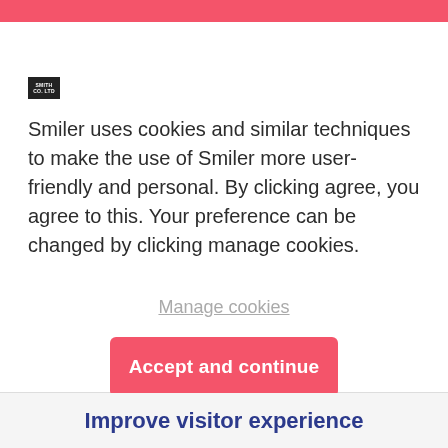[Figure (logo): Small black square logo with white text, likely a brand logo]
Smiler uses cookies and similar techniques to make the use of Smiler more user-friendly and personal. By clicking agree, you agree to this. Your preference can be changed by clicking manage cookies.
Manage cookies
Accept and continue
Improve visitor experience